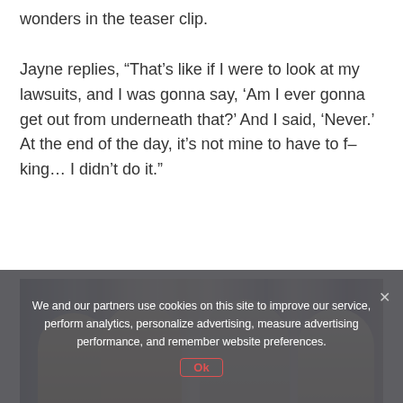wonders in the teaser clip.

Jayne replies, “That’s like if I were to look at my lawsuits, and I was gonna say, ‘Am I ever gonna get out from underneath that?’ And I said, ‘Never.’ At the end of the day, it’s not mine to have to f–king… I didn’t do it.”
[Figure (photo): Screenshot from a reality TV show showing four blonde women seated together in what appears to be a living room or lounge setting. The women are dressed in colorful outfits.]
We and our partners use cookies on this site to improve our service, perform analytics, personalize advertising, measure advertising performance, and remember website preferences.